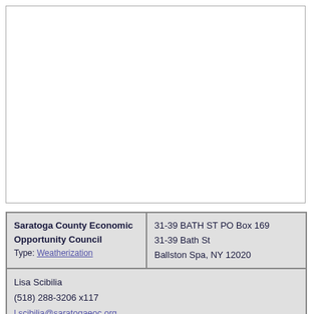[Figure (other): Empty white box with border, likely a map or image placeholder.]
| Organization | Address |
| --- | --- |
| Saratoga County Economic Opportunity Council
Type: Weatherization | 31-39 BATH ST PO Box 169
31-39 Bath St
Ballston Spa, NY 12020 |
| Lisa Scibilia
(518) 288-3206 x117
l.scibilia@saratogaeoc.org
www.saratogaeoc.org |  |